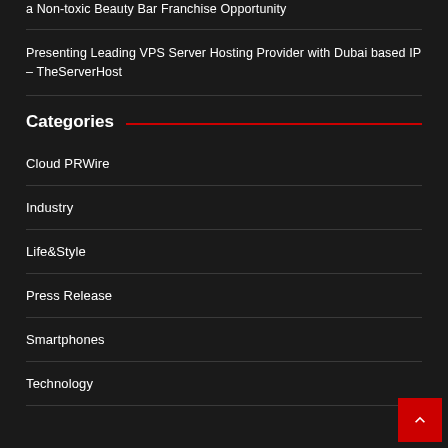a Non-toxic Beauty Bar Franchise Opportunity
Presenting Leading VPS Server Hosting Provider with Dubai based IP – TheServerHost
Categories
Cloud PRWire
Industry
Life&Style
Press Release
Smartphones
Technology